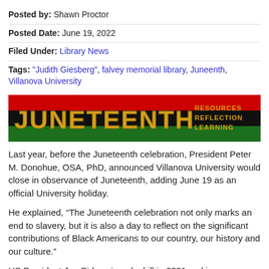Posted by: Shawn Proctor
Posted Date: June 19, 2022
Filed Under: Library News
Tags: "Judith Giesberg", falvey memorial library, Juneenth, Villanova University
[Figure (illustration): Juneteenth banner with red, black, and green Pan-African colors and gold lettering reading JUNETEENTH with RESOURCES REFLECTION LEARNING on the right side]
Last year, before the Juneteenth celebration, President Peter M. Donohue, OSA, PhD, announced Villanova University would close in observance of Juneteenth, adding June 19 as an official University holiday.
He explained, “The Juneteenth celebration not only marks an end to slavery, but it is also a day to reflect on the significant contributions of Black Americans to our country, our history and our culture.”
US President Joe Biden signed a bill in 2021 making Juneteenth a permanent national holiday as well.